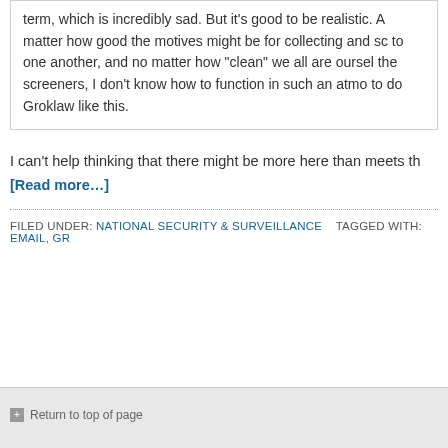term, which is incredibly sad. But it's good to be realistic. A matter how good the motives might be for collecting and sc to one another, and no matter how "clean" we all are oursel the screeners, I don't know how to function in such an atmo to do Groklaw like this.
I can't help thinking that there might be more here than meets th
[Read more…]
FILED UNDER: NATIONAL SECURITY & SURVEILLANCE   TAGGED WITH: EMAIL, GR
Return to top of page